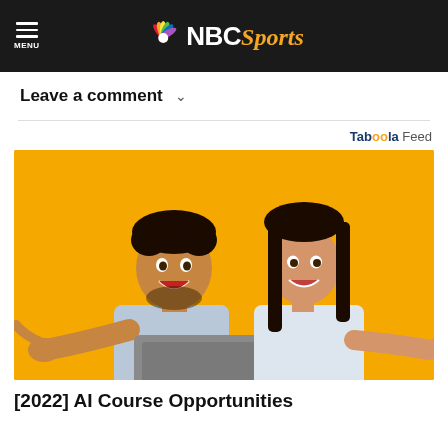NBC Sports
Leave a comment ∨
Taboola Feed
[Figure (photo): Two smiling young people pointing at a laptop computer against a yellow background]
[2022] AI Course Opportunities